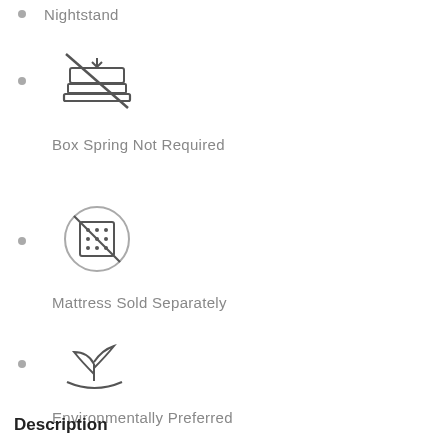Nightstand
Box Spring Not Required
Mattress Sold Separately
Environmentally Preferred
Description